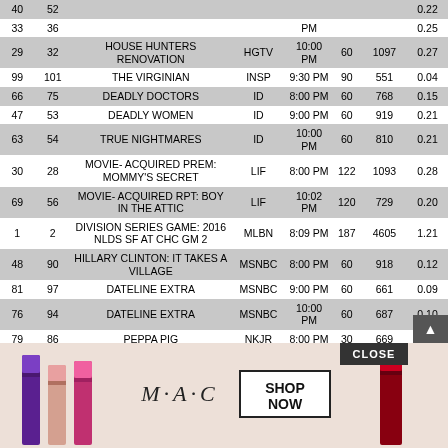|  |  | Program | Network | Time | Min | 000s | Rating |
| --- | --- | --- | --- | --- | --- | --- | --- |
| 40 | 52 |  |  |  |  |  | 0.22 |
| 33 | 36 |  |  | PM |  |  | 0.25 |
| 29 | 32 | HOUSE HUNTERS RENOVATION | HGTV | 10:00 PM | 60 | 1097 | 0.27 |
| 99 | 101 | THE VIRGINIAN | INSP | 9:30 PM | 90 | 551 | 0.04 |
| 66 | 75 | DEADLY DOCTORS | ID | 8:00 PM | 60 | 768 | 0.15 |
| 47 | 53 | DEADLY WOMEN | ID | 9:00 PM | 60 | 919 | 0.21 |
| 63 | 54 | TRUE NIGHTMARES | ID | 10:00 PM | 60 | 810 | 0.21 |
| 30 | 28 | MOVIE- ACQUIRED PREM: MOMMY'S SECRET | LIF | 8:00 PM | 122 | 1093 | 0.28 |
| 69 | 56 | MOVIE- ACQUIRED RPT: BOY IN THE ATTIC | LIF | 10:02 PM | 120 | 729 | 0.20 |
| 1 | 2 | DIVISION SERIES GAME: 2016 NLDS SF AT CHC GM 2 | MLBN | 8:09 PM | 187 | 4605 | 1.21 |
| 48 | 90 | HILLARY CLINTON: IT TAKES A VILLAGE | MSNBC | 8:00 PM | 60 | 918 | 0.12 |
| 81 | 97 | DATELINE EXTRA | MSNBC | 9:00 PM | 60 | 661 | 0.09 |
| 76 | 94 | DATELINE EXTRA | MSNBC | 10:00 PM | 60 | 687 | 0.10 |
| 79 | 86 | PEPPA PIG | NKJR | 8:00 PM | 30 | 669 | 0.13 |
| 80 | 89 | PEPPA PIG | NKJR | 8:30 |  |  | 0.12 |
| 83 | 88 |  |  |  |  |  | 0.12 |
[Figure (photo): MAC cosmetics advertisement overlay showing lipsticks in purple, pink/peach, hot pink, and red colors with M·A·C logo, SHOP NOW button, and CLOSE button]